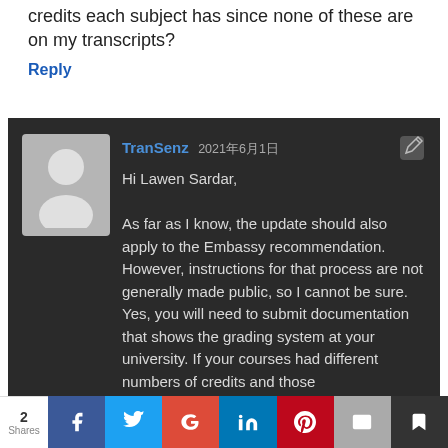credits each subject has since none of these are on my transcripts?
Reply
TranSenz 2021年6月1日
Hi Lawen Sardar,
As far as I know, the update should also apply to the Embassy recommendation. However, instructions for that process are not generally made public, so I cannot be sure.
Yes, you will need to submit documentation that shows the grading system at your university. If your courses had different numbers of credits and those
2 Shares  [Facebook] [Twitter] [G+] [LinkedIn] [Pinterest] [Email] [Bookmark]